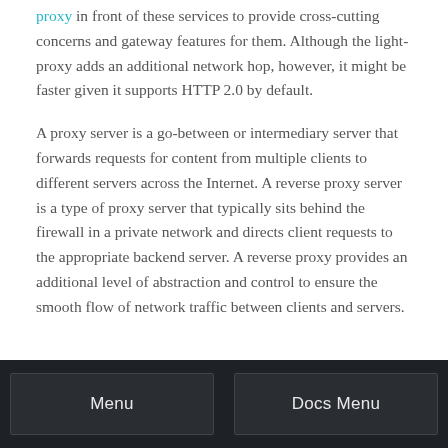proxy in front of these services to provide cross-cutting concerns and gateway features for them. Although the light-proxy adds an additional network hop, however, it might be faster given it supports HTTP 2.0 by default.
A proxy server is a go-between or intermediary server that forwards requests for content from multiple clients to different servers across the Internet. A reverse proxy server is a type of proxy server that typically sits behind the firewall in a private network and directs client requests to the appropriate backend server. A reverse proxy provides an additional level of abstraction and control to ensure the smooth flow of network traffic between clients and servers.
Menu   Docs Menu